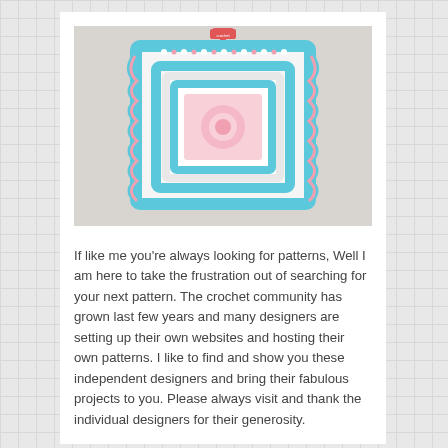[Figure (photo): A crocheted granny square top or pillow cover in blue, white, and pink colors, hanging on a red hanger against a light gray background.]
If like me you're always looking for patterns, Well I am here to take the frustration out of searching for your next pattern. The crochet community has grown last few years and many designers are setting up their own websites and hosting their own patterns. I like to find and show you these independent designers and bring their fabulous projects to you. Please always visit and thank the individual designers for their generosity.